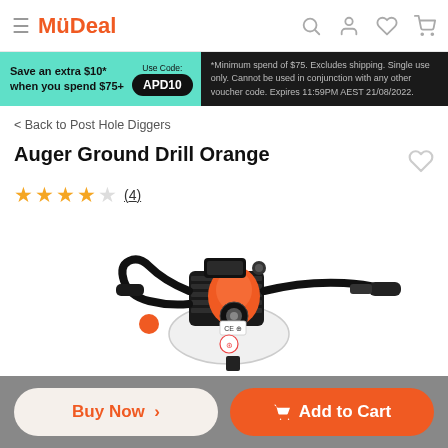MyDeal
[Figure (infographic): Promotional banner: Save an extra $10* when you spend $75+. Use Code: APD10. *Minimum spend of $75. Excludes shipping. Single use only. Cannot be used in conjunction with any other voucher code. Expires 11:59PM AEST 21/08/2022.]
< Back to Post Hole Diggers
Auger Ground Drill Orange
★★★★☆ (4)
[Figure (photo): Auger Ground Drill Orange - a gas-powered post hole digger with orange engine, black metal frame, white fuel tank, and drill bit auger attachment.]
Buy Now > | Add to Cart